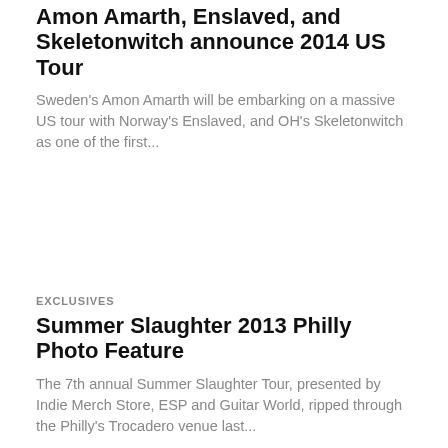Amon Amarth, Enslaved, and Skeletonwitch announce 2014 US Tour
Sweden's Amon Amarth will be embarking on a massive US tour with Norway's Enslaved, and OH's Skeletonwitch as one of the first...
EXCLUSIVES
Summer Slaughter 2013 Philly Photo Feature
The 7th annual Summer Slaughter Tour, presented by Indie Merch Store, ESP and Guitar World, ripped through the Philly's Trocadero venue last...